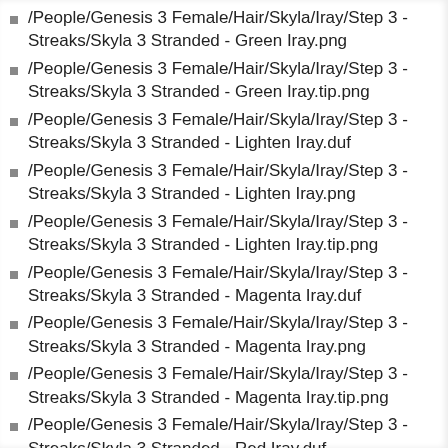/People/Genesis 3 Female/Hair/Skyla/Iray/Step 3 - Streaks/Skyla 3 Stranded - Green Iray.png
/People/Genesis 3 Female/Hair/Skyla/Iray/Step 3 - Streaks/Skyla 3 Stranded - Green Iray.tip.png
/People/Genesis 3 Female/Hair/Skyla/Iray/Step 3 - Streaks/Skyla 3 Stranded - Lighten Iray.duf
/People/Genesis 3 Female/Hair/Skyla/Iray/Step 3 - Streaks/Skyla 3 Stranded - Lighten Iray.png
/People/Genesis 3 Female/Hair/Skyla/Iray/Step 3 - Streaks/Skyla 3 Stranded - Lighten Iray.tip.png
/People/Genesis 3 Female/Hair/Skyla/Iray/Step 3 - Streaks/Skyla 3 Stranded - Magenta Iray.duf
/People/Genesis 3 Female/Hair/Skyla/Iray/Step 3 - Streaks/Skyla 3 Stranded - Magenta Iray.png
/People/Genesis 3 Female/Hair/Skyla/Iray/Step 3 - Streaks/Skyla 3 Stranded - Magenta Iray.tip.png
/People/Genesis 3 Female/Hair/Skyla/Iray/Step 3 - Streaks/Skyla 3 Stranded - Red Iray.duf